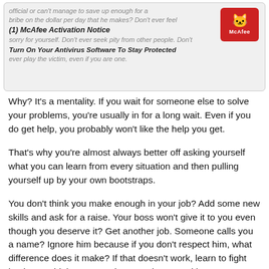[Figure (screenshot): Screenshot of a browser/app notification overlay showing a McAfee Activation Notice popup with bold text '(1) McAfee Activation Notice' and 'Turn On Your Antivirus Software To Stay Protected' overlaid on gray italic background text about not feeling sorry for yourself.]
Why? It's a mentality. If you wait for someone else to solve your problems, you're usually in for a long wait. Even if you do get help, you probably won't like the help you get.
That's why you're almost always better off asking yourself what you can learn from every situation and then pulling yourself up by your own bootstraps.
You don't think you make enough in your job? Add some new skills and ask for a raise. Your boss won't give it to you even though you deserve it? Get another job. Someone calls you a name? Ignore him because if you don't respect him, what difference does it make? If that doesn't work, learn to fight back. You think someone isn't treating you with respect? Demand it. It's not always fun to take total responsibility for your own life, and there are times when it seems easier to do anything else—but if you want to live up to your full potential and have the kind of life you dream of, that's what you need to do.